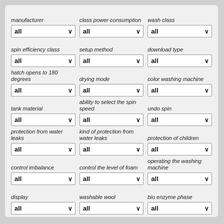manufacturer
class power consumption
wash class
spin efficiency class
setup method
download type
hatch opens to 180 degrees
drying mode
color washing machine
tank material
ability to select the spin speed
undo spin
protection from water leaks
kind of protection from water leaks
protection of children
control imbalance
control the level of foam
operating the washing machine
display
washable wool
bio enzyme phase
timer
special washing programs
additionally